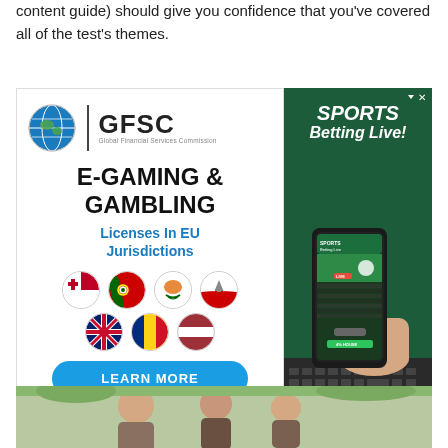content guide) should give you confidence that you've covered all of the test's themes.
[Figure (illustration): Advertisement for GFSC (Global Financial Services Commission) E-Gaming & Gambling Licenses in EU Jurisdictions, with a 'Learn More' button and flag icons, alongside a sports betting live screenshot on a phone.]
[Figure (photo): Bottom photo showing people, partially visible at base of page.]